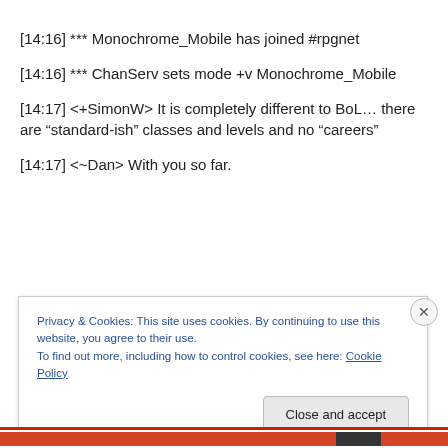[14:16] *** Monochrome_Mobile has joined #rpgnet
[14:16] *** ChanServ sets mode +v Monochrome_Mobile
[14:17] <+SimonW> It is completely different to BoL… there are “standard-ish” classes and levels and no “careers”
[14:17] <~Dan> With you so far.
Privacy & Cookies: This site uses cookies. By continuing to use this website, you agree to their use.
To find out more, including how to control cookies, see here: Cookie Policy
Close and accept